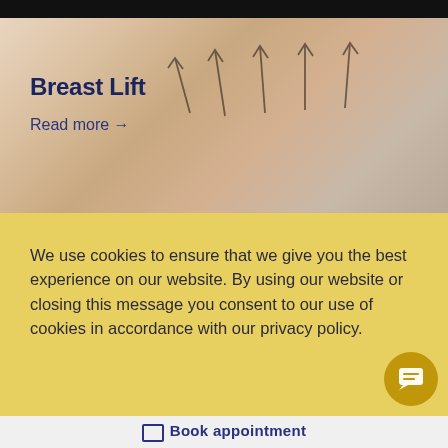[Figure (photo): Medical/cosmetic surgery promotional photo showing a woman with surgical markup arrows drawn on her torso indicating a breast lift procedure. The image has arrows pointing upward drawn on the skin.]
Breast Lift
Read more →
We use cookies to ensure that we give you the best experience on our website. By using our website or closing this message you consent to our use of cookies in accordance with our privacy policy.
Book appointment